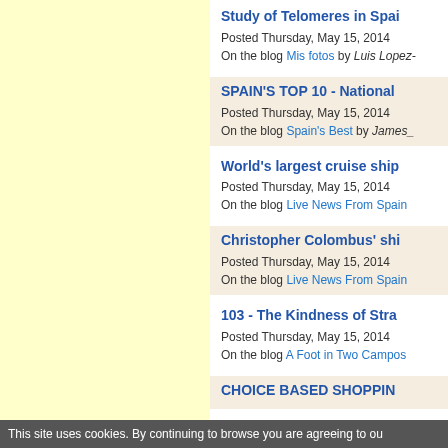Study of Telomeres in Spai...
Posted Thursday, May 15, 2014
On the blog Mis fotos by Luis Lopez-...
SPAIN'S TOP 10 - National...
Posted Thursday, May 15, 2014
On the blog Spain's Best by James_...
World's largest cruise ship...
Posted Thursday, May 15, 2014
On the blog Live News From Spain
Christopher Colombus' shi...
Posted Thursday, May 15, 2014
On the blog Live News From Spain
103 - The Kindness of Stra...
Posted Thursday, May 15, 2014
On the blog A Foot in Two Campos...
CHOICE BASED SHOPPIN...
This site uses cookies. By continuing to browse you are agreeing to ou...